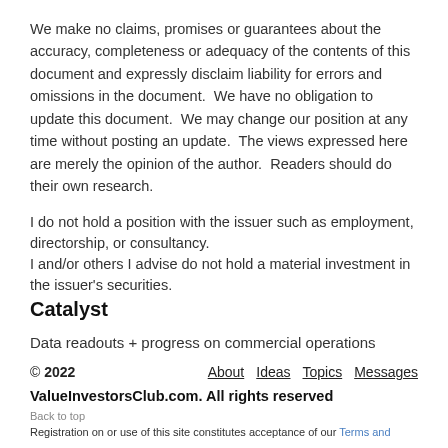We make no claims, promises or guarantees about the accuracy, completeness or adequacy of the contents of this document and expressly disclaim liability for errors and omissions in the document.  We have no obligation to update this document.  We may change our position at any time without posting an update.  The views expressed here are merely the opinion of the author.  Readers should do their own research.
I do not hold a position with the issuer such as employment, directorship, or consultancy.
I and/or others I advise do not hold a material investment in the issuer's securities.
Catalyst
Data readouts + progress on commercial operations
© 2022   About   Ideas   Topics   Messages
ValueInvestorsClub.com. All rights reserved
Back to top
Registration on or use of this site constitutes acceptance of our Terms and